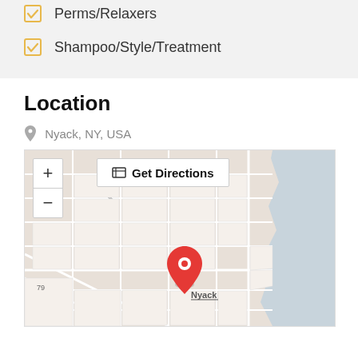Perms/Relaxers
Shampoo/Style/Treatment
Location
Nyack, NY, USA
[Figure (map): Street map of Nyack, NY, USA with a red location pin marker labeled Nyack, zoom in/out controls on the left, and a Get Directions button at the top.]